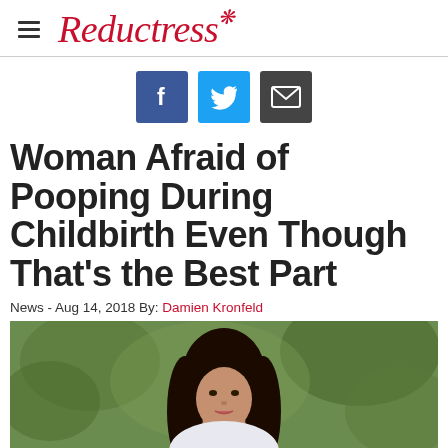Reductress
[Figure (infographic): Social share icons: Facebook (blue), Twitter (light blue), Email (dark gray)]
Woman Afraid of Pooping During Childbirth Even Though That's the Best Part
News - Aug 14, 2018 By: Damien Kronfeld
[Figure (photo): Photo of a woman with long dark hair, outdoor background with trees and greenery, serious expression]